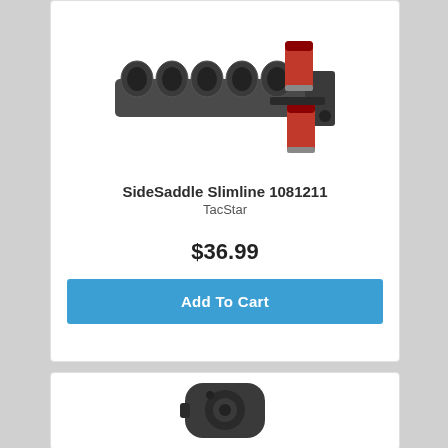[Figure (photo): Product photo of SideSaddle Slimline shell holder for shotgun, showing dark grey polymer carrier with cylindrical shell loops, with two red shotgun shells loaded on the right side]
SideSaddle Slimline 1081211
TacStar
$36.99
Add To Cart
[Figure (photo): Partial product photo of a dark grey firearm accessory, appears to be a pistol grip or stock component, partially visible at bottom of page]